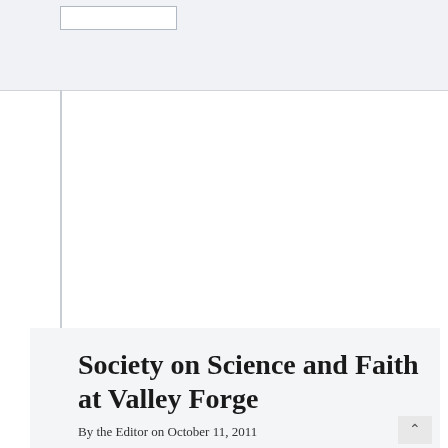OCTOBER 11, 2011
Society on Science and Faith at Valley Forge
By the Editor on October 11, 2011
Valley Forge Christian College Phoenixville, Pennsylvania Launching an “enduring forum for promoting the constructive engagement of issues at the nexus of theology and the natural sciences”, this society invites academics, administrators, teachers, students, professionals, a broad representation of congregations, and the general public to join in public lectures,